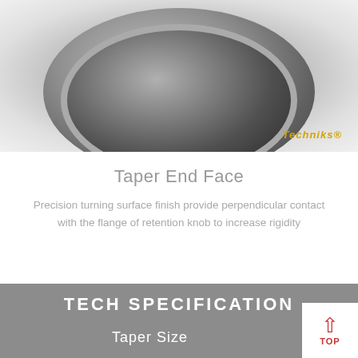[Figure (photo): Close-up photo of a taper end face of a tool holder, showing concentric circular machined surfaces. A Techniks logo appears in gold/yellow text at the bottom right of the image.]
Taper End Face
Precision turning surface finish provide perpendicular contact with the flange of retention knob to increase rigidity
TECH SPECIFICATION
Taper Size